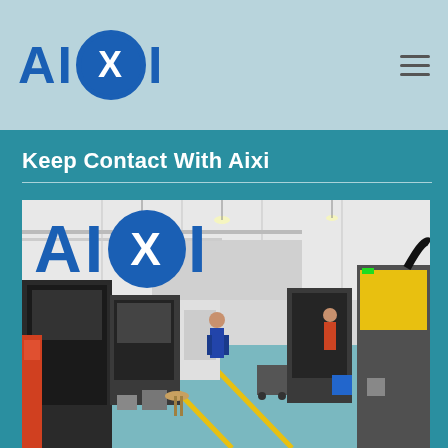AIXI logo and navigation bar
Keep Contact With Aixi
[Figure (photo): Manufacturing facility interior showing CNC machines, workers operating equipment on a factory floor with blue flooring, with the AIXI brand logo overlaid in the upper left corner of the image]